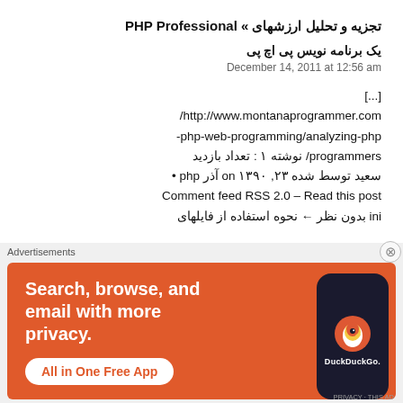تجزیه و تحلیل ارزشهای » PHP Professional
یک برنامه نویس پی اچ پی
December 14, 2011 at 12:56 am
[...]
http://www.montanaprogrammer.com/php-web-programming/analyzing-php-programmers/ نوشته ۱ : تعداد بازدید
سعید توسط شده on ۱۳۹۰ ,۲۳ آذر php •
Comment feed RSS 2.0 – Read this post
ini بدون نظر ← نحوه استفاده از فایلهای
Advertisements
[Figure (infographic): DuckDuckGo advertisement banner with orange background. Text: 'Search, browse, and email with more privacy.' Button: 'All in One Free App'. Shows a smartphone with DuckDuckGo logo.]